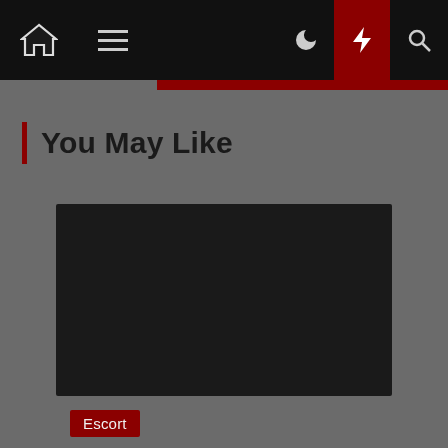Navigation bar with home, menu, moon, bolt, and search icons
You May Like
[Figure (photo): Dark/black image placeholder for article thumbnail]
Escort
Feel fortified with astonishing Memphis girls